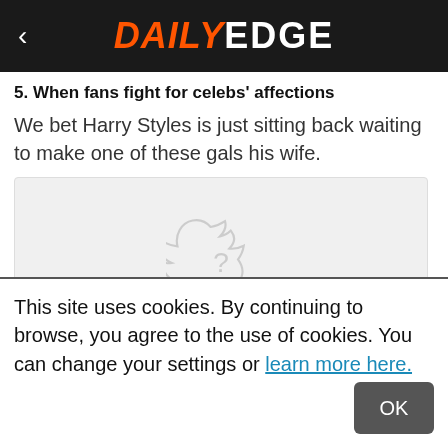DAILY EDGE
5. When fans fight for celebs' affections
We bet Harry Styles is just sitting back waiting to make one of these gals his wife.
[Figure (screenshot): Twitter embed placeholder showing a bird icon with a question mark and the text 'Whoops!']
This site uses cookies. By continuing to browse, you agree to the use of cookies. You can change your settings or learn more here.